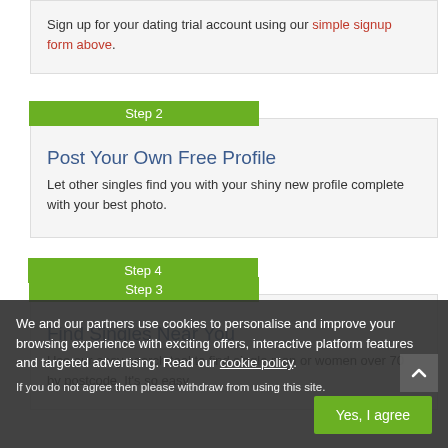Sign up for your dating trial account using our simple signup form above.
Step 2
Post Your Own Free Profile
Let other singles find you with your shiny new profile complete with your best photo.
Step 3
Find Singles Near You
Use our easy search tool to find single men or women over 70 by postcode. It's so easy.
We and our partners use cookies to personalise and improve your browsing experience with exciting offers, interactive platform features and targeted advertising. Read our cookie policy.
If you do not agree then please withdraw from using this site.